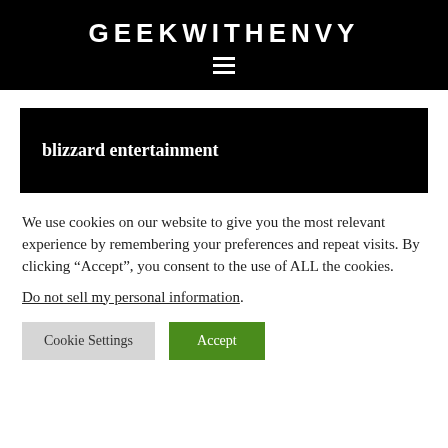GEEKWITHENVY
blizzard entertainment
We use cookies on our website to give you the most relevant experience by remembering your preferences and repeat visits. By clicking “Accept”, you consent to the use of ALL the cookies.
Do not sell my personal information.
Cookie Settings | Accept